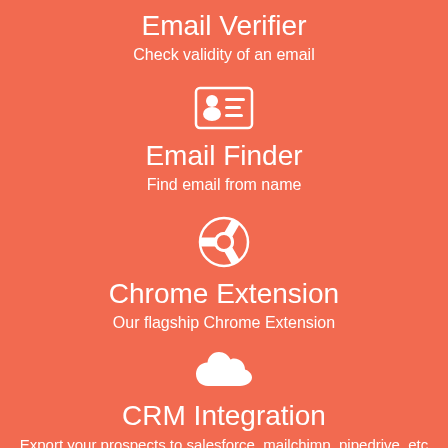[Figure (illustration): White email verifier icon (envelope with checkmark) centered on orange background]
Email Verifier
Check validity of an email
[Figure (illustration): White contact card / email finder icon centered on orange background]
Email Finder
Find email from name
[Figure (illustration): White Chrome browser logo icon centered on orange background]
Chrome Extension
Our flagship Chrome Extension
[Figure (illustration): White cloud icon centered on orange background]
CRM Integration
Export your prospects to salesforce, mailchimp, pipedrive, etc
[Figure (illustration): Partial white rounded rectangle button at bottom of page]